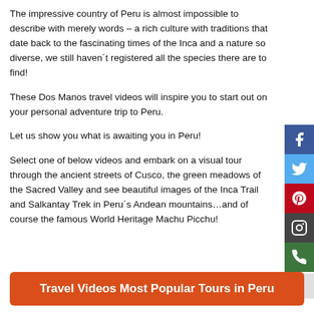The impressive country of Peru is almost impossible to describe with merely words – a rich culture with traditions that date back to the fascinating times of the Inca and a nature so diverse, we still haven´t registered all the species there are to find!
These Dos Manos travel videos will inspire you to start out on your personal adventure trip to Peru.
Let us show you what is awaiting you in Peru!
Select one of below videos and embark on a visual tour through the ancient streets of Cusco, the green meadows of the Sacred Valley and see beautiful images of the Inca Trail and Salkantay Trek in Peru´s Andean mountains…and of course the famous World Heritage Machu Picchu!
[Figure (infographic): Social media icons sidebar: Facebook (blue), Twitter (light blue), Pinterest (red), Instagram (dark grey), Phone (green), and a grey arrow button]
Travel Videos Most Popular Tours in Peru